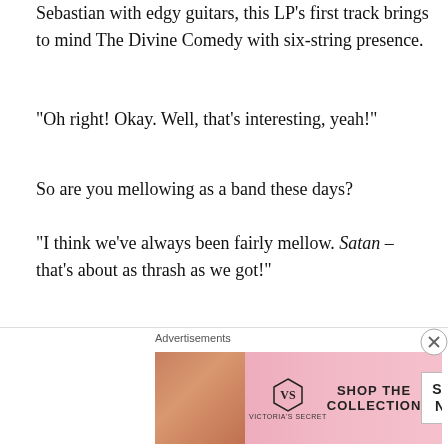Sebastian with edgy guitars, this LP's first track brings to mind The Divine Comedy with six-string presence.
“Oh right! Okay. Well, that’s interesting, yeah!”
So are you mellowing as a band these days?
“I think we’ve always been fairly mellow. Satan – that’s about as thrash as we got!”
Oh yes, that gloriously-noisy 81-second track after sublime opener The Concept on Bandwagonesque.
[Figure (logo): Grand Prix stylized logo text in metallic chrome-style lettering]
Advertisements
[Figure (screenshot): Victoria's Secret advertisement banner with woman, logo, 'SHOP THE COLLECTION' text and 'SHOP NOW' button on pink background]